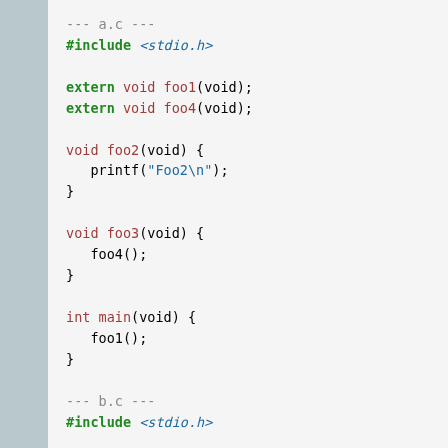[Figure (screenshot): C source code listing for a.c and b.c files with syntax highlighting, showing extern declarations, function definitions for foo1, foo2, foo3, foo4, and main.]